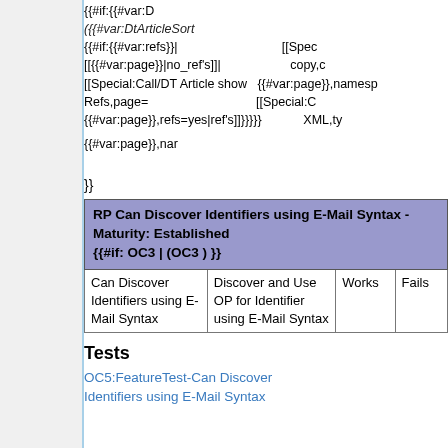{{#if:{{#var:D
({{#var:DtArticleSort
{{#if:{{#var:refs}}| [[Spec
[[{{#var:page}}|no_ref's]]| copy,c
[[Special:Call/DT Article show {{#var:page}},namesp
Refs,page= [[Special:C
{{#var:page}},refs=yes|ref's]]}}}} XML,ty
{{#var:page}},nar
}}
| RP Can Discover Identifiers using E-Mail Syntax - Maturity: Established {{#if: OC3 | (OC3 ) }} |  |  |  |
| --- | --- | --- | --- |
| Can Discover Identifiers using E-Mail Syntax | Discover and Use OP for Identifier using E-Mail Syntax | Works | Fails |
Tests
OC5:FeatureTest-Can Discover Identifiers using E-Mail Syntax